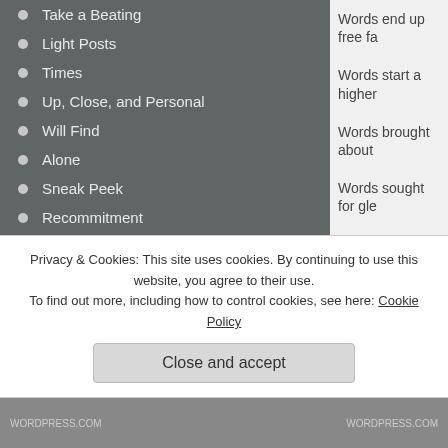Take a Beating
Light Posts
Times
Up, Close, and Personal
Will Find
Alone
Sneak Peek
Recommitment
Trail To True Freedom Found
Arise
Compassionate Angel
Through the Seasons
Urgent See
Wounded
Anew
Words end up free fa
Words start a higher
Words brought about
Words sought for gle
Words I write make s
Words of insight will
Words to tell my stor
Words unlifted for HI
Privacy & Cookies: This site uses cookies. By continuing to use this website, you agree to their use. To find out more, including how to control cookies, see here: Cookie Policy
Close and accept